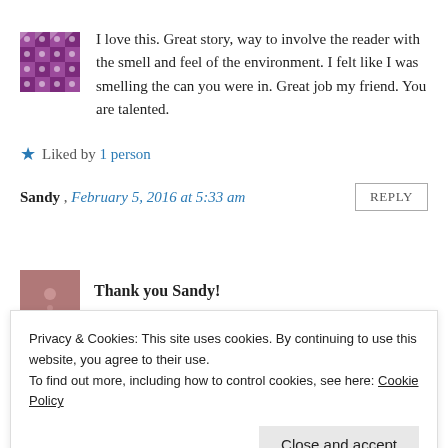I love this. Great story, way to involve the reader with the smell and feel of the environment. I felt like I was smelling the can you were in. Great job my friend. You are talented.
★ Liked by 1 person
Sandy , February 5, 2016 at 5:33 am    REPLY
Thank you Sandy!
Privacy & Cookies: This site uses cookies. By continuing to use this website, you agree to their use.
To find out more, including how to control cookies, see here: Cookie Policy
Close and accept